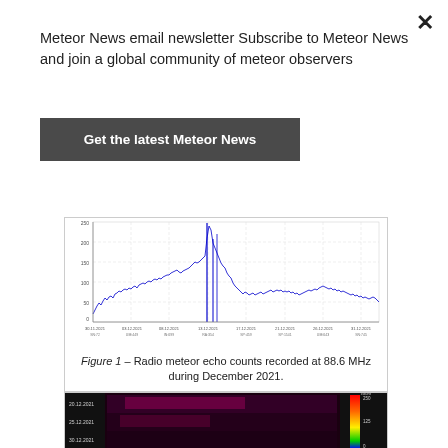Meteor News email newsletter Subscribe to Meteor News and join a global community of meteor observers
Get the latest Meteor News
[Figure (continuous-plot): Radio meteor echo counts time-series chart recorded at 88.6 MHz during December 2021, showing a large spike around mid-December (Geminids peak), with y-axis count values and x-axis dates.]
Figure 1 – Radio meteor echo counts recorded at 88.6 MHz during December 2021.
[Figure (other): Color spectrogram / heatmap image showing radio meteor echo data, with a color scale on the right (count 0-250+) and dates on the y-axis. Red-orange region visible in upper portion.]